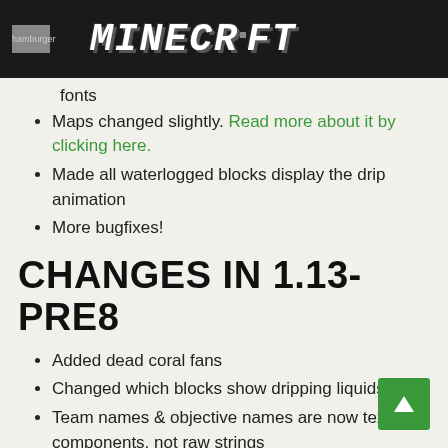MINECRAFT
fonts
Maps changed slightly. Read more about it by clicking here.
Made all waterlogged blocks display the drip animation
More bugfixes!
CHANGES IN 1.13-PRE8
Added dead coral fans
Changed which blocks show dripping liquids
Team names & objective names are now text components, not raw strings
More bugfixes!